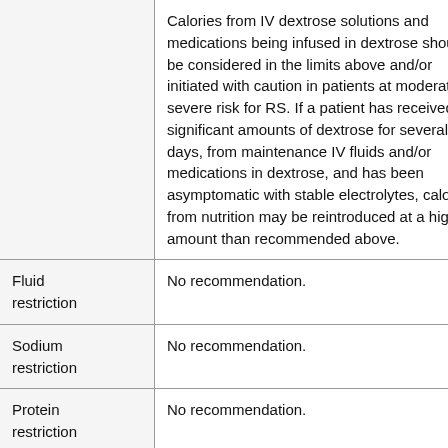|  | Calories from IV dextrose solutions and medications being infused in dextrose should be considered in the limits above and/or initiated with caution in patients at moderate to severe risk for RS. If a patient has received significant amounts of dextrose for several days, from maintenance IV fluids and/or medications in dextrose, and has been asymptomatic with stable electrolytes, calories from nutrition may be reintroduced at a higher amount than recommended above. |
| Fluid restriction | No recommendation. |
| Sodium restriction | No recommendation. |
| Protein restriction | No recommendation. |
|  | Check serum potassium, magnesium, and |